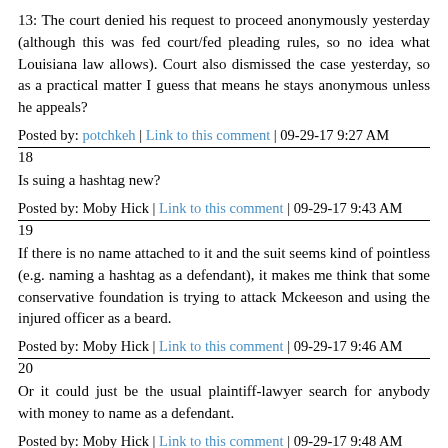13: The court denied his request to proceed anonymously yesterday (although this was fed court/fed pleading rules, so no idea what Louisiana law allows). Court also dismissed the case yesterday, so as a practical matter I guess that means he stays anonymous unless he appeals?
Posted by: potchkeh | Link to this comment | 09-29-17 9:27 AM
18
Is suing a hashtag new?
Posted by: Moby Hick | Link to this comment | 09-29-17 9:43 AM
19
If there is no name attached to it and the suit seems kind of pointless (e.g. naming a hashtag as a defendant), it makes me think that some conservative foundation is trying to attack Mckeeson and using the injured officer as a beard.
Posted by: Moby Hick | Link to this comment | 09-29-17 9:46 AM
20
Or it could just be the usual plaintiff-lawyer search for anybody with money to name as a defendant.
Posted by: Moby Hick | Link to this comment | 09-29-17 9:48 AM